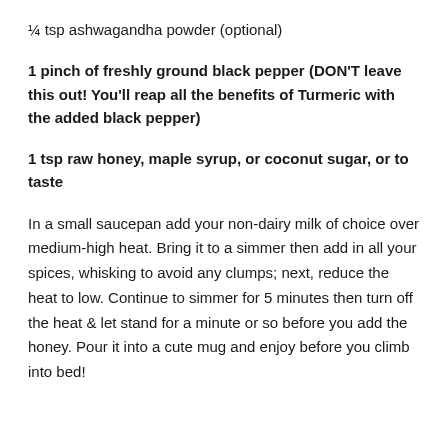¼ tsp ashwagandha powder (optional)
1 pinch of freshly ground black pepper (DON'T leave this out! You'll reap all the benefits of Turmeric with the added black pepper)
1 tsp raw honey, maple syrup, or coconut sugar, or to taste
In a small saucepan add your non-dairy milk of choice over medium-high heat. Bring it to a simmer then add in all your spices, whisking to avoid any clumps; next, reduce the heat to low. Continue to simmer for 5 minutes then turn off the heat & let stand for a minute or so before you add the honey. Pour it into a cute mug and enjoy before you climb into bed!